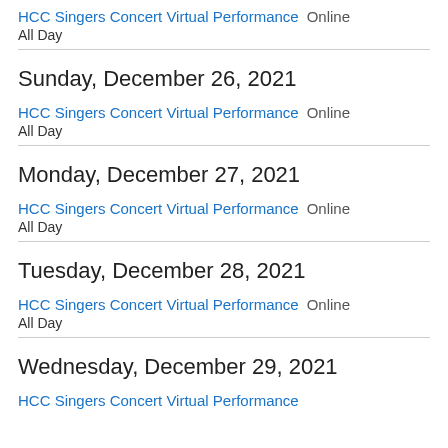HCC Singers Concert Virtual Performance
All Day
Online
Sunday, December 26, 2021
HCC Singers Concert Virtual Performance
All Day
Online
Monday, December 27, 2021
HCC Singers Concert Virtual Performance
All Day
Online
Tuesday, December 28, 2021
HCC Singers Concert Virtual Performance
All Day
Online
Wednesday, December 29, 2021
HCC Singers Concert Virtual Performance